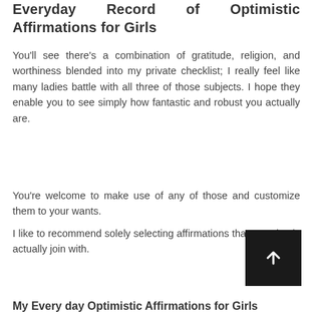Everyday Record of Optimistic Affirmations for Girls
You’ll see there’s a combination of gratitude, religion, and worthiness blended into my private checklist; I really feel like many ladies battle with all three of those subjects. I hope they enable you to see simply how fantastic and robust you actually are.
You’re welcome to make use of any of those and customize them to your wants.
I like to recommend solely selecting affirmations that you simply actually join with.
My Every day Optimistic Affirmations for Girls